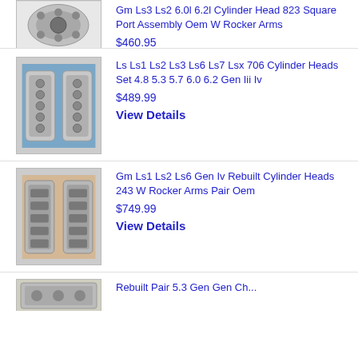[Figure (photo): Cylinder head part photo (partial, top of page)]
Gm Ls3 Ls2 6.0l 6.2l Cylinder Head 823 Square Port Assembly Oem W Rocker Arms
$460.95
View Details
[Figure (photo): Two silver cylinder heads side by side on blue background]
Ls Ls1 Ls2 Ls3 Ls6 Ls7 Lsx 706 Cylinder Heads Set 4.8 5.3 5.7 6.0 6.2 Gen Iii Iv
$489.99
View Details
[Figure (photo): Two rebuilt cylinder heads with rocker arms on tan background]
Gm Ls1 Ls2 Ls6 Gen Iv Rebuilt Cylinder Heads 243 W Rocker Arms Pair Oem
$749.99
View Details
[Figure (photo): Cylinder head part photo (partial, bottom of page)]
Rebuilt Pair 5.3 Gen Gen Ch...